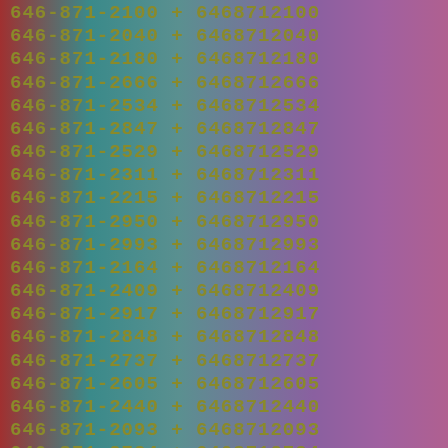646-871-2100 + 6468712100
646-871-2040 + 6468712040
646-871-2180 + 6468712180
646-871-2666 + 6468712666
646-871-2534 + 6468712534
646-871-2847 + 6468712847
646-871-2529 + 6468712529
646-871-2311 + 6468712311
646-871-2215 + 6468712215
646-871-2950 + 6468712950
646-871-2993 + 6468712993
646-871-2164 + 6468712164
646-871-2409 + 6468712409
646-871-2917 + 6468712917
646-871-2848 + 6468712848
646-871-2737 + 6468712737
646-871-2605 + 6468712605
646-871-2440 + 6468712440
646-871-2093 + 6468712093
646-871-2724 + 6468712724
646-871-2492 + 6468712492
646-871-2956 + 6468712956